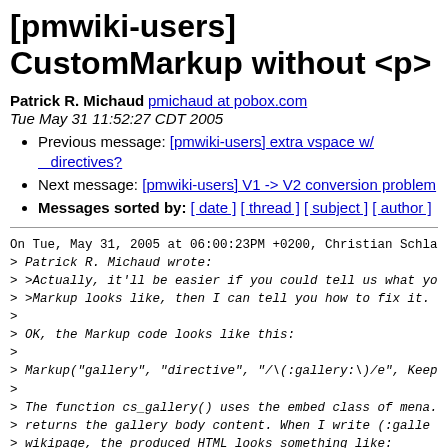[pmwiki-users] CustomMarkup without <p>
Patrick R. Michaud pmichaud at pobox.com
Tue May 31 11:52:27 CDT 2005
Previous message: [pmwiki-users] extra vspace w/ directives?
Next message: [pmwiki-users] V1 -> V2 conversion problem
Messages sorted by: [ date ] [ thread ] [ subject ] [ author ]
On Tue, May 31, 2005 at 06:00:23PM +0200, Christian Schla
> Patrick R. Michaud wrote:
> >Actually, it'll be easier if you could tell us what yo
> >Markup looks like, then I can tell you how to fix it.
>
> OK, the Markup code looks like this:
>
> Markup("gallery", "directive", "/\(:gallery:\)/e", Keep
>
> The function cs_gallery() uses the embed class of mena.
> returns the gallery body content. When I write (:galle
> wikipage, the produced HTML looks something like: